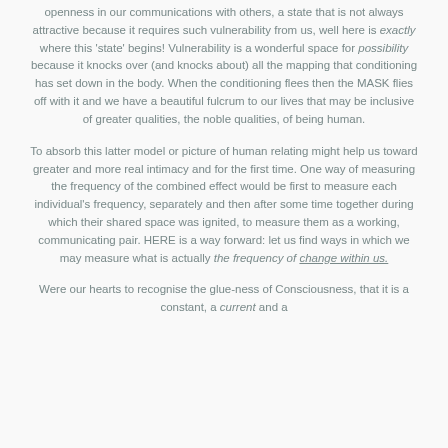openness in our communications with others, a state that is not always attractive because it requires such vulnerability from us, well here is exactly where this 'state' begins! Vulnerability is a wonderful space for possibility because it knocks over (and knocks about) all the mapping that conditioning has set down in the body. When the conditioning flees then the MASK flies off with it and we have a beautiful fulcrum to our lives that may be inclusive of greater qualities, the noble qualities, of being human.

To absorb this latter model or picture of human relating might help us toward greater and more real intimacy and for the first time. One way of measuring the frequency of the combined effect would be first to measure each individual's frequency, separately and then after some time together during which their shared space was ignited, to measure them as a working, communicating pair. HERE is a way forward: let us find ways in which we may measure what is actually the frequency of change within us.

Were our hearts to recognise the glue-ness of Consciousness, that it is a constant, a current and a